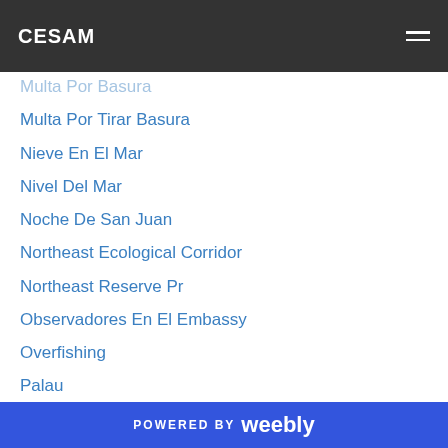CESAM
Multa Por Basura
Multa Por Tirar Basura
Nieve En El Mar
Nivel Del Mar
Noche De San Juan
Northeast Ecological Corridor
Northeast Reserve Pr
Observadores En El Embassy
Overfishing
Palau
Parrotfish
Penguins From Space
Perspectiva Ambiental Del Candidato Santorum
Pesca De Tiburones
Poy Con Concer563d0b013c
POWERED BY weebly